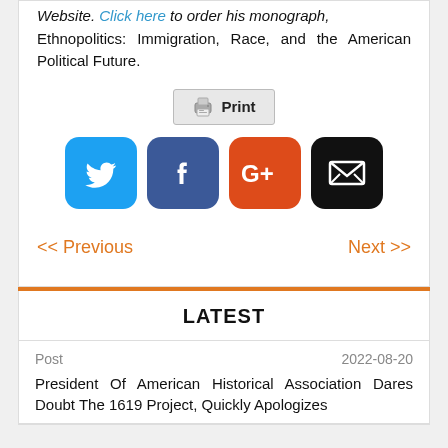Website. Click here to order his monograph, Ethnopolitics: Immigration, Race, and the American Political Future.
[Figure (screenshot): Print button with printer icon]
[Figure (infographic): Social media share icons: Twitter (blue bird), Facebook (blue f), Google+ (orange G+), Email (black envelope)]
<< Previous    Next >>
LATEST
Post    2022-08-20
President Of American Historical Association Dares Doubt The 1619 Project, Quickly Apologizes